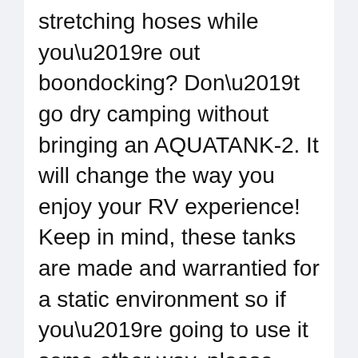stretching hoses while you’re out boondocking? Don’t go dry camping without bringing an AQUATANK-2. It will change the way you enjoy your RV experience! Keep in mind, these tanks are made and warrantied for a static environment so if you’re going to use it some other way, please make sure to secure it tightly and keep it away from sharp objects.
“NO WEIRD TASTE” BPA’s are not good… they can interfere